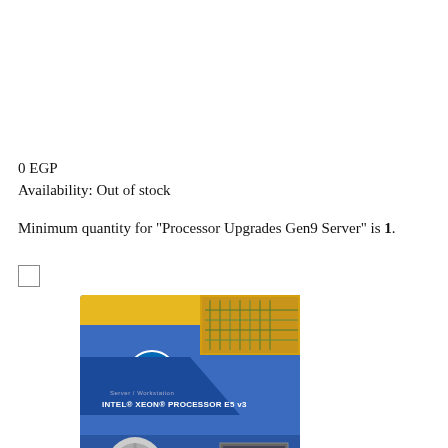0 EGP
Availability: Out of stock
Minimum quantity for "Processor Upgrades Gen9 Server" is 1.
[Figure (photo): Intel Xeon Processor E5 v3 product box, blue packaging with Intel logo]